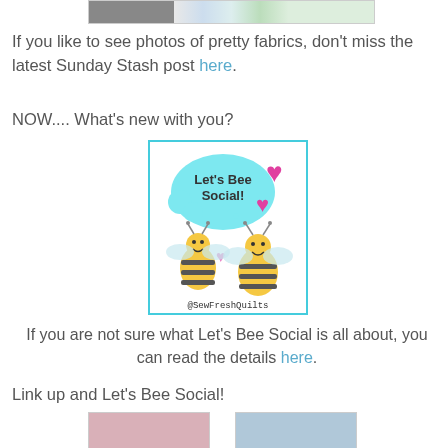[Figure (photo): Partial top image showing fabrics with colorful pattern]
If you like to see photos of pretty fabrics, don't miss the latest Sunday Stash post here.
NOW.... What's new with you?
[Figure (illustration): Let's Bee Social illustration with two cartoon bees and hearts, speech bubble saying 'Let's Bee Social!' and text '@SewFreshQuilts' at bottom, cyan border]
If you are not sure what Let's Bee Social is all about, you can read the details here.
Link up and Let's Bee Social!
[Figure (photo): Bottom left thumbnail photo]
[Figure (photo): Bottom right thumbnail photo]